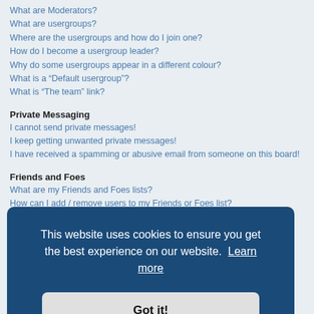What are Moderators?
What are usergroups?
Where are the usergroups and how do I join one?
How do I become a usergroup leader?
Why do some usergroups appear in a different colour?
What is a “Default usergroup”?
What is “The team” link?
Private Messaging
I cannot send private messages!
I keep getting unwanted private messages!
I have received a spamming or abusive email from someone on this board!
Friends and Foes
What are my Friends and Foes lists?
How can I add / remove users to my Friends or Foes list?
Searching the Forums
[Figure (screenshot): Cookie consent banner overlay with text 'This website uses cookies to ensure you get the best experience on our website. Learn more' and a 'Got it!' button]
How do I bookmark or subscribe to specific topics?
How do I subscribe to specific forums?